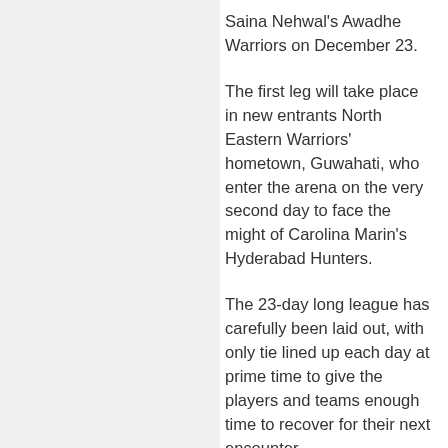Saina Nehwal's Awadhe Warriors on December 23.
The first leg will take place in new entrants North Eastern Warriors' hometown, Guwahati, who enter the arena on the very second day to face the might of Carolina Marin's Hyderabad Hunters.
The 23-day long league has carefully been laid out, with only tie lined up each day at prime time to give the players and teams enough time to recover for their next encounter.